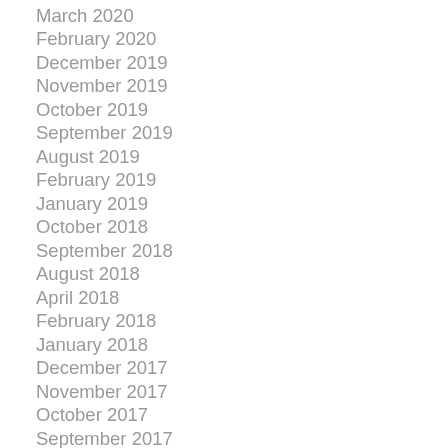March 2020
February 2020
December 2019
November 2019
October 2019
September 2019
August 2019
February 2019
January 2019
October 2018
September 2018
August 2018
April 2018
February 2018
January 2018
December 2017
November 2017
October 2017
September 2017
August 2017
June 2017